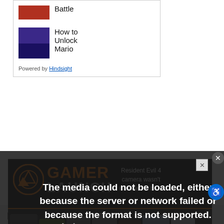[Figure (screenshot): Sidebar thumbnail showing red/battle image at top]
Battle
[Figure (screenshot): Sidebar thumbnail showing Mario/Luigi purple game image]
How to Unlock Mario
Powered by Hindsight
[Figure (screenshot): Gamer Launch advertisement banner with logo and game characters]
The media could not be loaded, either because the server or network failed or because the format is not supported.
Resident Evil 4 camera wasn't intended to be…
How to Reach the Fallen Ketch